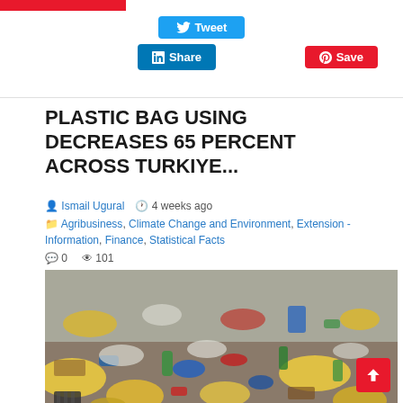[Figure (screenshot): Red navigation bar at the top of the webpage]
[Figure (screenshot): Social sharing buttons: Tweet (blue), Share (LinkedIn blue), Save (Pinterest red)]
PLASTIC BAG USING DECREASES 65 PERCENT ACROSS TURKIYE...
Ismail Ugural   4 weeks ago
Agribusiness, Climate Change and Environment, Extension - Information, Finance, Statistical Facts
0   101
[Figure (photo): Large pile of mixed plastic waste, plastic bags, bottles and garbage in various colors including yellow, blue, green, white and red]